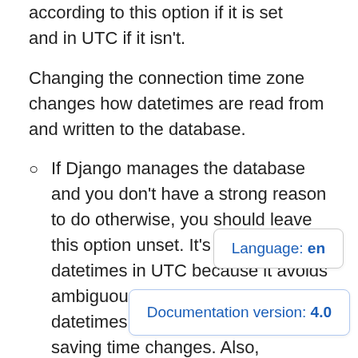according to this option if it is set and in UTC if it isn't.
Changing the connection time zone changes how datetimes are read from and written to the database.
If Django manages the database and you don't have a strong reason to do otherwise, you should leave this option unset. It's best to store datetimes in UTC because it avoids ambiguous or nonexistent datetimes during daylight saving time changes. Also,
Language: en
Documentation version: 4.0